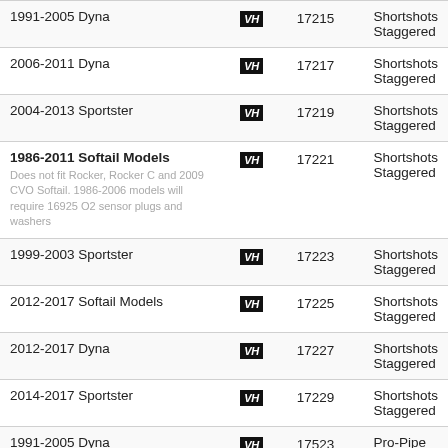| Model | Brand | Part# | Description |
| --- | --- | --- | --- |
| 1991-2005 Dyna | VH | 17215 | Shortshots Staggered |
| 2006-2011 Dyna | VH | 17217 | Shortshots Staggered |
| 2004-2013 Sportster | VH | 17219 | Shortshots Staggered |
| 1986-2011 Softail Models
Does not fit Rocker, Rocker C and 2009 CVO Softail. 1986-2006 models will require 16925 O2 sensor plugs and washers | VH | 17221 | Shortshots Staggered |
| 1999-2003 Sportster | VH | 17223 | Shortshots Staggered |
| 2012-2017 Softail Models | VH | 17225 | Shortshots Staggered |
| 2012-2017 Dyna | VH | 17227 | Shortshots Staggered |
| 2014-2017 Sportster | VH | 17229 | Shortshots Staggered |
| 1991-2005 Dyna | VH | 17523 | Pro-Pipe |